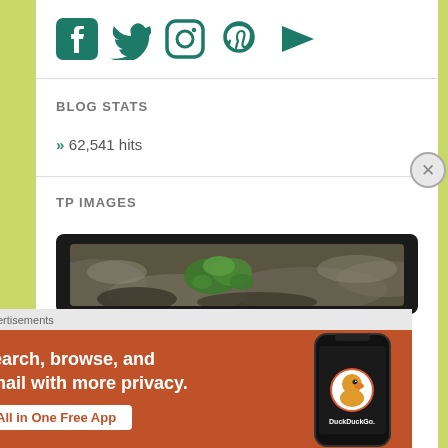[Figure (illustration): Social media icons: Facebook, Twitter, Instagram, Pinterest, YouTube — all in teal/dark green color]
BLOG STATS
» 62,541 hits
TP IMAGES
[Figure (photo): Dark-framed photo showing green plants/clovers among rocks in a forest scene]
Advertisements
[Figure (infographic): DuckDuckGo advertisement banner with orange background. Text: Search, browse, and email with more privacy. All in One Free App. Shows a phone with DuckDuckGo logo.]